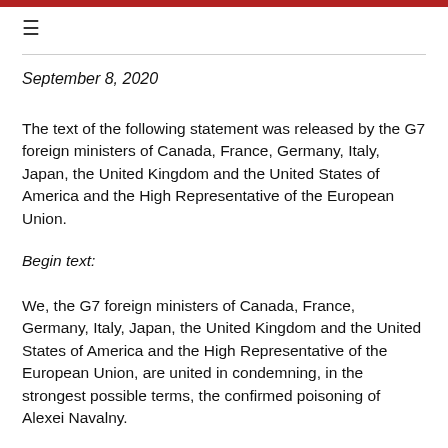≡
September 8, 2020
The text of the following statement was released by the G7 foreign ministers of Canada, France, Germany, Italy, Japan, the United Kingdom and the United States of America and the High Representative of the European Union.
Begin text:
We, the G7 foreign ministers of Canada, France, Germany, Italy, Japan, the United Kingdom and the United States of America and the High Representative of the European Union, are united in condemning, in the strongest possible terms, the confirmed poisoning of Alexei Navalny.